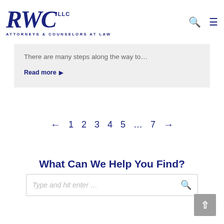[Figure (logo): RWC LLC Attorneys & Counselors at Law logo in dark navy blue]
There are many steps along the way to…
Read more ▶
← 1 2 3 4 5 … 7 →
What Can We Help You Find?
Type and hit enter …